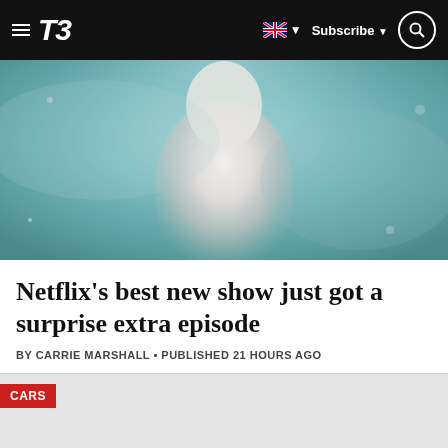T3 — Navigation bar with hamburger menu, T3 logo, UK flag, Subscribe, Search
[Figure (photo): Hero image: a pale, ethereal figure with white/light skin photographed against a blueish-teal misty background, upper body visible, moody atmospheric lighting]
Netflix's best new show just got a surprise extra episode
BY CARRIE MARSHALL • PUBLISHED 21 HOURS AGO
[Figure (other): Promotional/advertisement bar with CARS tag label in red on grey background]